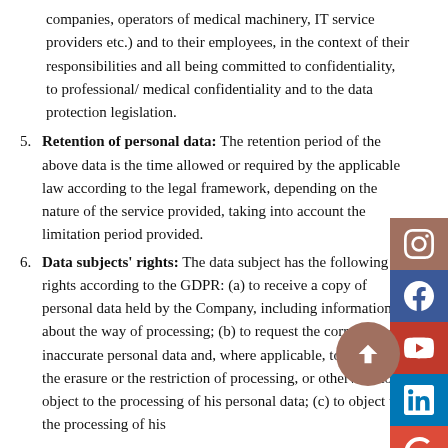companies, operators of medical machinery, IT service providers etc.) and to their employees, in the context of their responsibilities and all being committed to confidentiality, to professional/ medical confidentiality and to the data protection legislation.
Retention of personal data: The retention period of the above data is the time allowed or required by the applicable law according to the legal framework, depending on the nature of the service provided, taking into account the limitation period provided.
Data subjects' rights: The data subject has the following rights according to the GDPR: (a) to receive a copy of personal data held by the Company, including information about the way of processing; (b) to request the correction of inaccurate personal data and, where applicable, to request the erasure or the restriction of processing, or otherwise to object to the processing of his personal data; (c) to object to the processing of his